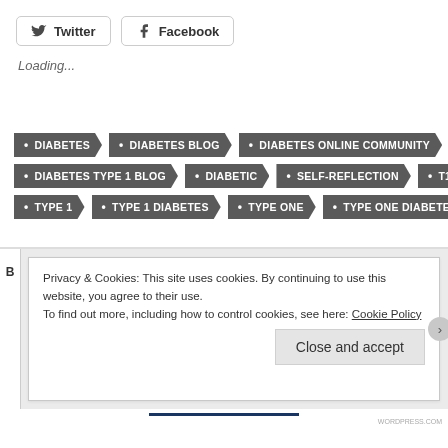[Figure (infographic): Twitter and Facebook social share buttons with bird and f icons]
Loading...
• DIABETES
• DIABETES BLOG
• DIABETES ONLINE COMMUNITY
• DIABETES TYPE 1 BLOG
• DIABETIC
• SELF-REFLECTION
• T1D
• TYPE 1
• TYPE 1 DIABETES
• TYPE ONE
• TYPE ONE DIABETES
Privacy & Cookies: This site uses cookies. By continuing to use this website, you agree to their use.
To find out more, including how to control cookies, see here: Cookie Policy
Close and accept